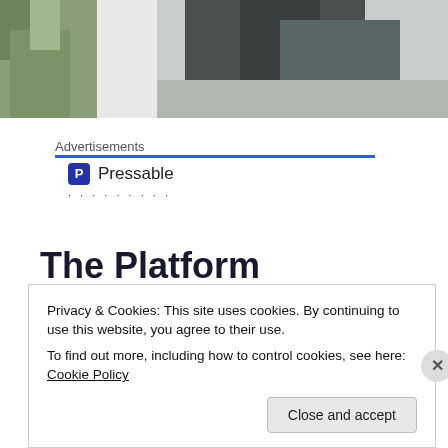[Figure (photo): Partial photo strip at top of page: left side shows greenish outdoor scene, right side shows dark shadow/silhouette on gray pavement]
Advertisements
[Figure (logo): Pressable logo: blue square with white P icon, followed by text 'Pressable', with dots row below]
The Platform Where WordPress Works Best
Privacy & Cookies: This site uses cookies. By continuing to use this website, you agree to their use.
To find out more, including how to control cookies, see here: Cookie Policy
Close and accept